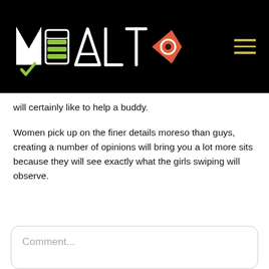[Figure (logo): Mealto logo on black background with hamburger menu icon on the right]
will certainly like to help a buddy.
Women pick up on the finer details moreso than guys, creating a number of opinions will bring you a lot more sits because they will see exactly what the girls swiping will observe.
Comment...